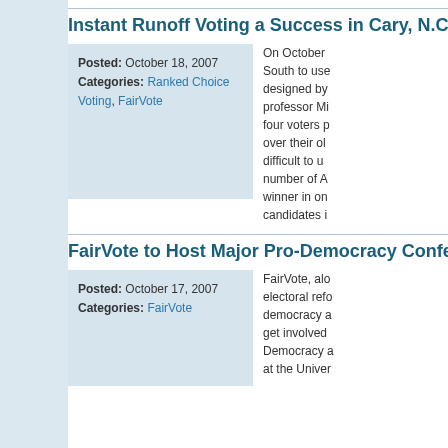Instant Runoff Voting a Success in Cary, N.C. Pilo
Posted: October 18, 2007
Categories: Ranked Choice Voting, FairVote
On October South to use designed by professor Mi four voters p over their ol difficult to u number of A winner in on candidates i
FairVote to Host Major Pro-Democracy Conferenc
Posted: October 17, 2007
Categories: FairVote
FairVote, alo electoral refo democracy a get involved Democracy a at the Univer